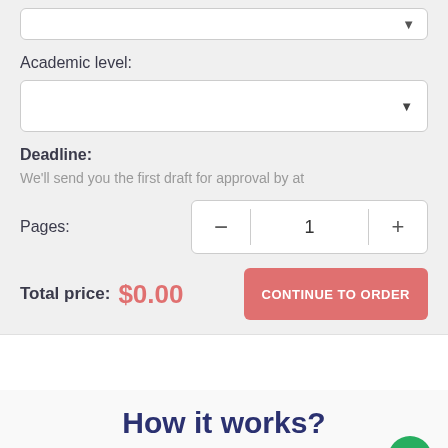[Figure (screenshot): Top input bar (text field, partially visible) with dropdown arrow]
Academic level:
[Figure (screenshot): Dropdown select box for academic level with arrow indicator]
Deadline:
We'll send you the first draft for approval by at
Pages:
[Figure (screenshot): Pages counter with minus button, value 1, and plus button]
Total price: $0.00
[Figure (screenshot): CONTINUE TO ORDER button in salmon/coral color]
How it works?
Follow these simple steps to get your paper done